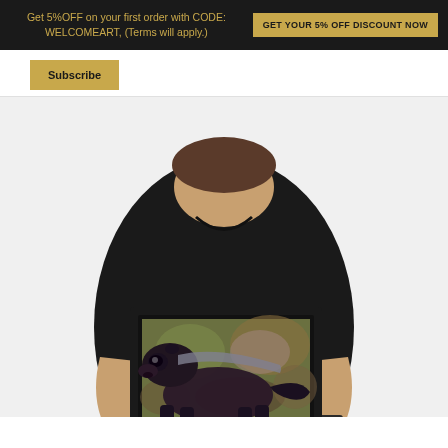Get 5%OFF on your first order with CODE: WELCOMEART, (Terms will apply.)  GET YOUR 5% OFF DISCOUNT NOW
Subscribe
[Figure (photo): A person in a black t-shirt holding up a framed painting of a honey badger (dark colored mustelid animal with grey stripe) against a green earthy background. The framed print is displayed in a black frame.]